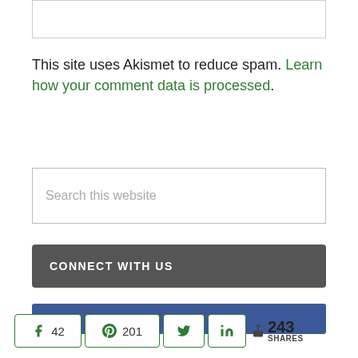This site uses Akismet to reduce spam. Learn how your comment data is processed.
Search this website
CONNECT WITH US
[Figure (other): Facebook social media banner, blue background with partial icon]
42  201  < 243 SHARES